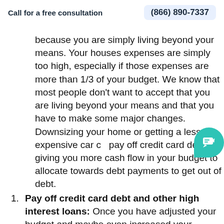Call for a free consultation   (866) 890-7337
because you are simply living beyond your means. Your houses expenses are simply too high, especially if those expenses are more than 1/3 of your budget. We know that most people don't want to accept that you are living beyond your means and that you have to make some major changes. Downsizing your home or getting a less expensive car can pay off credit card debt by giving you more cash flow in your budget to allocate towards debt payments to get out of debt.
2. Pay off credit card debt and other high interest loans: Once you have adjusted your budget and maybe even increased your income and downsized your home or car, start putting this money towards paying down debt. Make more than the minimum